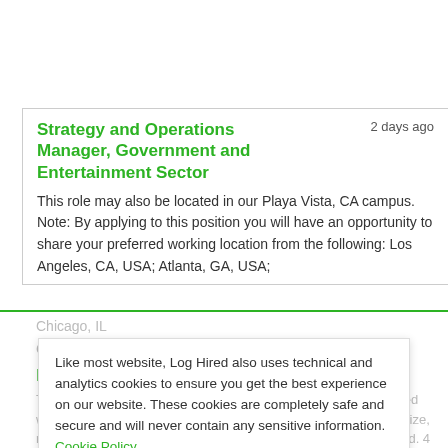Strategy and Operations Manager, Government and Entertainment Sector
2 days ago
This role may also be located in our Playa Vista, CA campus. Note: By applying to this position you will have an opportunity to share your preferred working location from the following: Los Angeles, CA, USA; Atlanta, GA, USA;
Chicago, IL
Google, Chicago, IL
Product Managers
Teamon, LLC seeks Product Managers for various & unanticipated worksites throughout the U.S. (HQ: Chicago, IL) to assess, prioritize, new product initiatives. Master's Comp Sci/Comp Eng/related field. 4 yrs exp. $95
Like most website, Log Hired also uses technical and analytics cookies to ensure you get the best experience on our website. These cookies are completely safe and secure and will never contain any sensitive information. Cookie Policy.